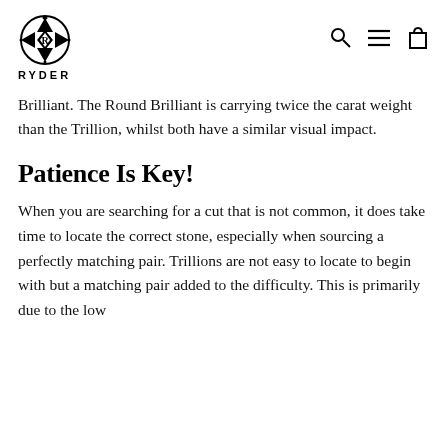RYDER
Brilliant. The Round Brilliant is carrying twice the carat weight than the Trillion, whilst both have a similar visual impact.
Patience Is Key!
When you are searching for a cut that is not common, it does take time to locate the correct stone, especially when sourcing a perfectly matching pair. Trillions are not easy to locate to begin with but a matching pair added to the difficulty. This is primarily due to the low